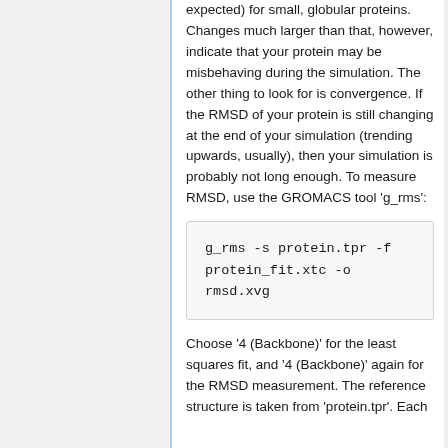expected) for small, globular proteins. Changes much larger than that, however, indicate that your protein may be misbehaving during the simulation. The other thing to look for is convergence. If the RMSD of your protein is still changing at the end of your simulation (trending upwards, usually), then your simulation is probably not long enough. To measure RMSD, use the GROMACS tool 'g_rms':
g_rms -s protein.tpr -f protein_fit.xtc -o rmsd.xvg
Choose '4 (Backbone)' for the least squares fit, and '4 (Backbone)' again for the RMSD measurement. The reference structure is taken from 'protein.tpr'. Each